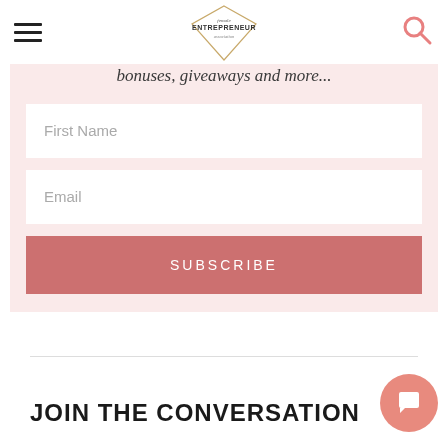Female Entrepreneur Association — navigation header with hamburger menu and search icon
bonuses, giveaways and more...
[Figure (other): First Name input field (white rectangle form field)]
[Figure (other): Email input field (white rectangle form field)]
[Figure (other): SUBSCRIBE button (salmon/pink rectangle)]
JOIN THE CONVERSATION